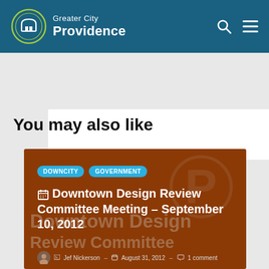[Figure (logo): Greater City Providence website header with teal background, circular logo with stylized building/arch icon, search icon and hamburger menu icon]
[Figure (other): White advertisement or content placeholder box]
You may also like
[Figure (other): Article card with brown background showing Downtown Design Review Committee Meeting - September 10, 2012, with DOWNCITY and GOVERNMENT tags, calendar icon, watermark P circle and Downtown Design Review Committee watermark text, authored by Jef Nickerson on August 31, 2012 with 1 comment]